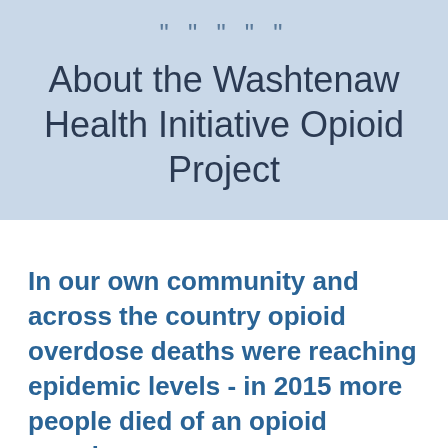About the Washtenaw Health Initiative Opioid Project
In our own community and across the country opioid overdose deaths were reaching epidemic levels - in 2015 more people died of an opioid overdose